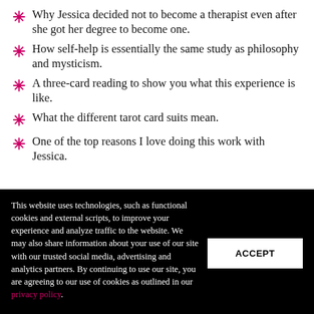Why Jessica decided not to become a therapist even after she got her degree to become one.
How self-help is essentially the same study as philosophy and mysticism.
A three-card reading to show you what this experience is like.
What the different tarot card suits mean.
One of the top reasons I love doing this work with Jessica.
This website uses technologies, such as functional cookies and external scripts, to improve your experience and analyze traffic to the website. We may also share information about your use of our site with our trusted social media, advertising and analytics partners. By continuing to use our site, you are agreeing to our use of cookies as outlined in our privacy policy.